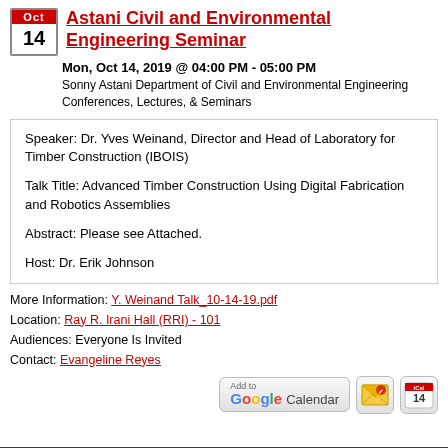Astani Civil and Environmental Engineering Seminar
Mon, Oct 14, 2019 @ 04:00 PM - 05:00 PM
Sonny Astani Department of Civil and Environmental Engineering
Conferences, Lectures, & Seminars
Speaker: Dr. Yves Weinand, Director and Head of Laboratory for Timber Construction (IBOIS)

Talk Title: Advanced Timber Construction Using Digital Fabrication and Robotics Assemblies

Abstract: Please see Attached.

Host: Dr. Erik Johnson
More Information: Y. Weinand Talk_10-14-19.pdf
Location: Ray R. Irani Hall (RRI) - 101
Audiences: Everyone Is Invited
Contact: Evangeline Reyes
[Figure (other): Buttons: Add to Google Calendar, envelope icon, iCal icon]